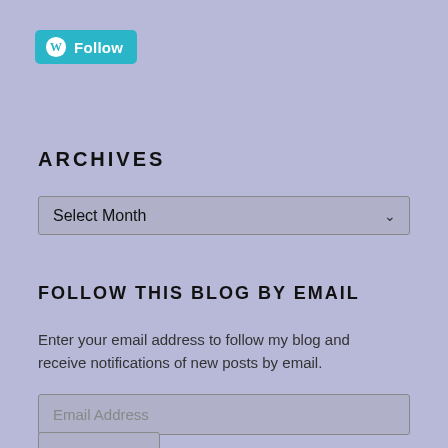[Figure (logo): WordPress Follow button with cyan background, W logo and Follow text]
ARCHIVES
[Figure (screenshot): Select Month dropdown menu]
FOLLOW THIS BLOG BY EMAIL
Enter your email address to follow my blog and receive notifications of new posts by email.
[Figure (screenshot): Email Address input field]
[Figure (screenshot): Follow submit button (partially visible)]